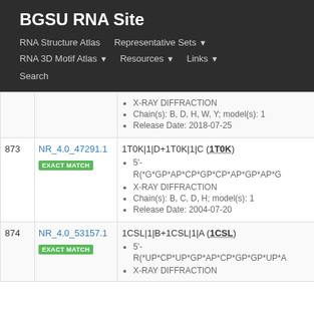BGSU RNA Site
RNA Structure Atlas
Representative Sets
RNA 3D Motif Atlas
Resources
Links
Search
| # | ID | Details |
| --- | --- | --- |
|  | NR_4.0_47291.1 EXACT MATCH | 1T0K|1|D+1T0K|1|C (1T0K)
5'- R(*G*GP*AP*CP*GP*CP*AP*GP*AP*G
X-RAY DIFFRACTION
Chain(s): B, C, D, H; model(s): 1
Release Date: 2004-07-20 |
| 874 | NR_4.0_53157.1 EXACT MATCH | 1CSL|1|B+1CSL|1|A (1CSL)
5'- R(*UP*CP*UP*GP*AP*CP*GP*GP*UP*A
X-RAY DIFFRACTION |